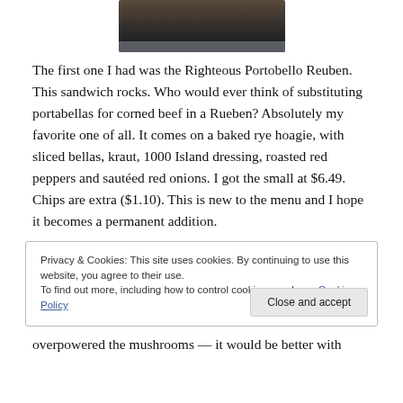[Figure (photo): Partial view of a food dish in a dark bowl/plate, cropped at top of page]
The first one I had was the Righteous Portobello Reuben. This sandwich rocks. Who would ever think of substituting portabellas for corned beef in a Rueben? Absolutely my favorite one of all. It comes on a baked rye hoagie, with sliced bellas, kraut, 1000 Island dressing, roasted red peppers and sautéed red onions. I got the small at $6.49. Chips are extra ($1.10). This is new to the menu and I hope it becomes a permanent addition.
Privacy & Cookies: This site uses cookies. By continuing to use this website, you agree to their use.
To find out more, including how to control cookies, see here: Cookie Policy
overpowered the mushrooms — it would be better with